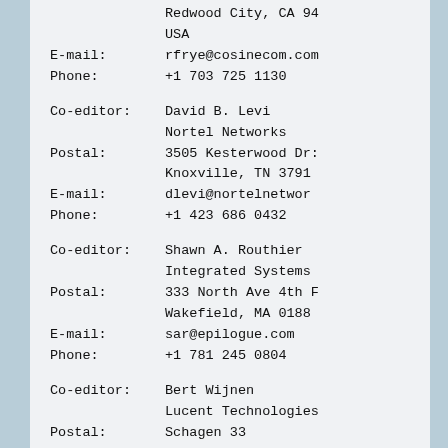Redwood City, CA 94
USA
E-mail:   rfrye@cosinecom.com
Phone:    +1 703 725 1130
Co-editor:  David B. Levi
            Nortel Networks
Postal:   3505 Kesterwood Dr
          Knoxville, TN 3791
E-mail:   dlevi@nortelnetwork
Phone:    +1 423 686 0432
Co-editor:  Shawn A. Routhier
            Integrated Systems
Postal:   333 North Ave 4th F
          Wakefield, MA 0188
E-mail:   sar@epilogue.com
Phone:    +1 781 245 0804
Co-editor:  Bert Wijnen
            Lucent Technologies
Postal:   Schagen 33